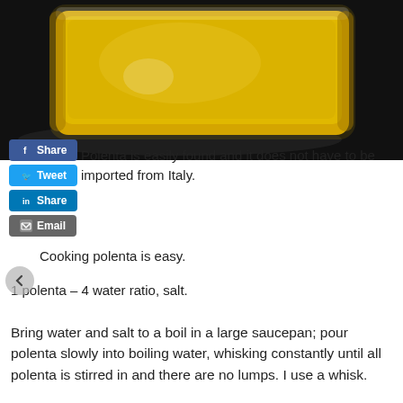[Figure (photo): A clear plastic bag of yellow polenta/cornmeal sitting on a dark reflective surface]
Polenta is easily found and it does not have to be imported from Italy.
Cooking polenta is easy.
1 polenta – 4 water ratio, salt.
Bring water and salt to a boil in a large saucepan; pour polenta slowly into boiling water, whisking constantly until all polenta is stirred in and there are no lumps. I use a whisk.